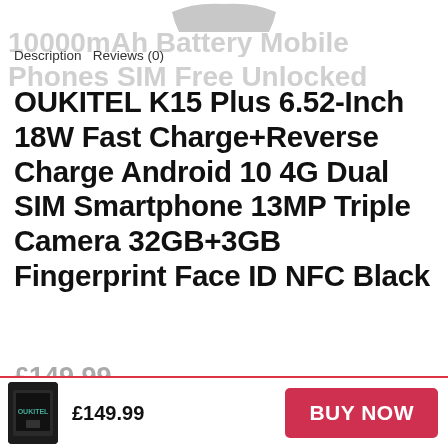[Figure (photo): Partial view of a smartphone silhouette at the top of the page]
10000mAh Battery Mobile Phones SIM Free Unlocked
Description   Reviews (0)
OUKITEL K15 Plus 6.52-Inch 18W Fast Charge+Reverse Charge Android 10 4G Dual SIM Smartphone 13MP Triple Camera 32GB+3GB Fingerprint Face ID NFC Black
£149.99
[Figure (photo): Small thumbnail image of the OUKITEL K15 Plus smartphone in black]
£149.99
BUY NOW